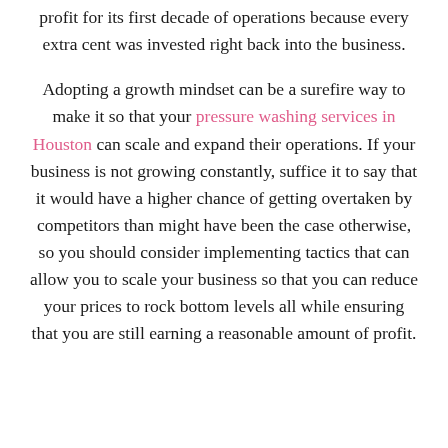profit for its first decade of operations because every extra cent was invested right back into the business.
Adopting a growth mindset can be a surefire way to make it so that your pressure washing services in Houston can scale and expand their operations. If your business is not growing constantly, suffice it to say that it would have a higher chance of getting overtaken by competitors than might have been the case otherwise, so you should consider implementing tactics that can allow you to scale your business so that you can reduce your prices to rock bottom levels all while ensuring that you are still earning a reasonable amount of profit.